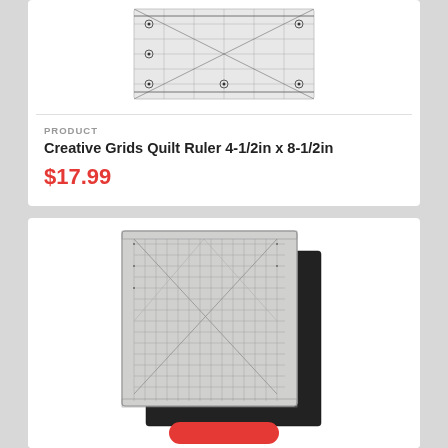[Figure (photo): Quilt ruler product photo - Creative Grids transparent ruler with measurement markings]
PRODUCT
Creative Grids Quilt Ruler 4-1/2in x 8-1/2in
$17.99
[Figure (photo): Cutting mat product photo - square gridded cutting mat in gray with black backing mat, stacked]